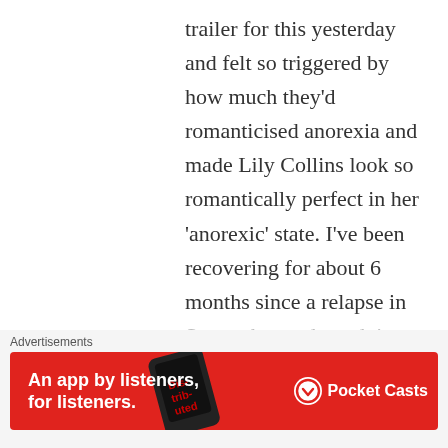trailer for this yesterday and felt so triggered by how much they'd romanticised anorexia and made Lily Collins look so romantically perfect in her 'anorexic' state. I've been recovering for about 6 months since a relapse in September and am doing really well just now but the trailer still made me catch my breath and miss the 'security' of being underweight. Thank you for your post: I seriously thought I was the only one who
Advertisements
[Figure (other): Red advertisement banner for Pocket Casts app: 'An app by listeners, for listeners.' with phone image and Pocket Casts logo]